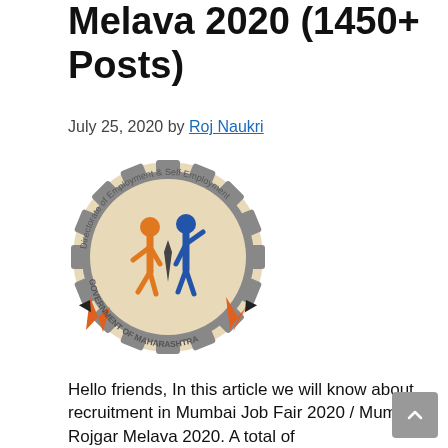Melava 2020 (1450+ Posts)
July 25, 2020 by Roj Naukri
[Figure (logo): Directorate of Employment & Self Employment, Government of Maharashtra circular logo with gear, human figures, and orange arrows]
Hello friends, In this article we will know about recruitment in Mumbai Job Fair 2020 / Mumbai Rojgar Melava 2020. A total of